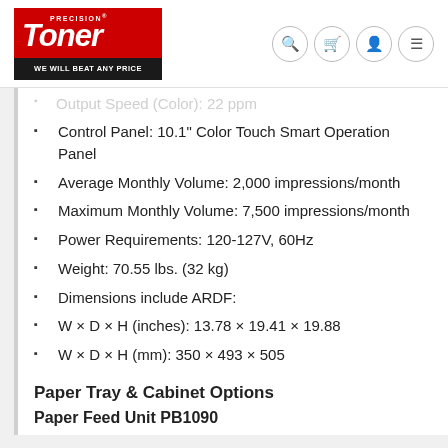[Figure (logo): Precision Toner logo with red background, white italic text 'TONER', tagline 'WE WILL BEAT ANY PRICE' on black bar]
Output Speed (Color): 22 ppm (partial, clipped)
Control Panel: 10.1" Color Touch Smart Operation Panel
Average Monthly Volume: 2,000 impressions/month
Maximum Monthly Volume: 7,500 impressions/month
Power Requirements: 120-127V, 60Hz
Weight: 70.55 lbs. (32 kg)
Dimensions include ARDF:
W × D × H (inches): 13.78 × 19.41 × 19.88
W × D × H (mm): 350 × 493 × 505
Paper Tray & Cabinet Options
Paper Feed Unit PB1090